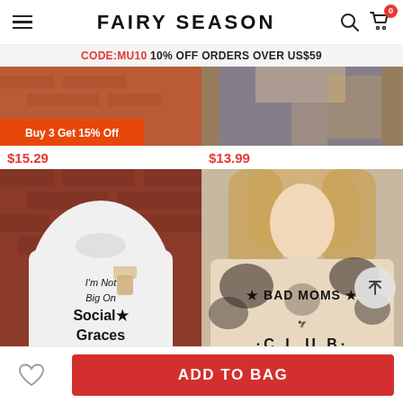FAIRY SEASON
CODE:MU10 10% OFF ORDERS OVER US$59
[Figure (photo): Partial product image with orange promo badge 'Buy 3 Get 15% Off']
$15.29
[Figure (photo): Partial product image of woman in denim jacket]
$13.99
[Figure (photo): White t-shirt with text 'I'm Not Big On Social Graces' and whiskey glass graphic, on brick wall background]
[Figure (photo): Bleached t-shirt with 'BAD MOMS CLUB wine provided' graphic, worn by blonde woman]
ADD TO BAG